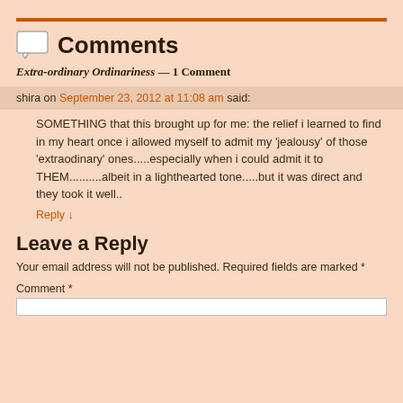Comments
Extra-ordinary Ordinariness — 1 Comment
shira on September 23, 2012 at 11:08 am said:
SOMETHING that this brought up for me: the relief i learned to find in my heart once i allowed myself to admit my 'jealousy' of those 'extraodinary' ones.....especially when i could admit it to THEM..........albeit in a lighthearted tone.....but it was direct and they took it well..
Reply ↓
Leave a Reply
Your email address will not be published. Required fields are marked *
Comment *